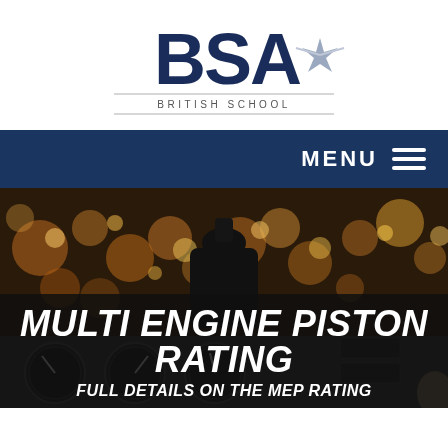[Figure (logo): BSA British School of Aviation logo — large bold 'BSA' text with a silver aircraft/star graphic, and below in smaller spaced caps 'BRITISH SCHOOL OF AVIATION' with horizontal lines on either side]
MENU ≡
[Figure (photo): Cockpit hero image: blurred bokeh golden lights in background with a dark silhouette of a control column/yoke in the center, and in the foreground aircraft instrument panel with gauges visible]
MULTI ENGINE PISTON RATING
FULL DETAILS ON THE MEP RATING